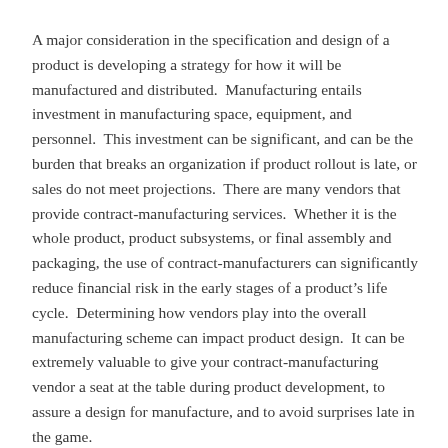A major consideration in the specification and design of a product is developing a strategy for how it will be manufactured and distributed.  Manufacturing entails investment in manufacturing space, equipment, and personnel.  This investment can be significant, and can be the burden that breaks an organization if product rollout is late, or sales do not meet projections.  There are many vendors that provide contract-manufacturing services.  Whether it is the whole product, product subsystems, or final assembly and packaging, the use of contract-manufacturers can significantly reduce financial risk in the early stages of a product’s life cycle.  Determining how vendors play into the overall manufacturing scheme can impact product design.  It can be extremely valuable to give your contract-manufacturing vendor a seat at the table during product development, to assure a design for manufacture, and to avoid surprises late in the game.